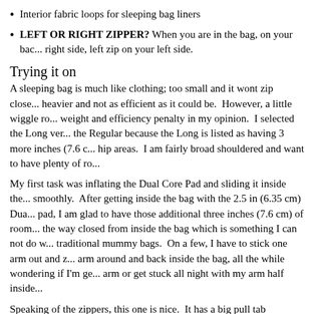Interior fabric loops for sleeping bag liners
LEFT OR RIGHT ZIPPER? When you are in the bag, on your back, right zip on your right side, left zip on your left side.
Trying it on
A sleeping bag is much like clothing; too small and it wont zip close, heavier and not as efficient as it could be. However, a little wiggle room is worth the weight and efficiency penalty in my opinion. I selected the Long version over the Regular because the Long is listed as having 3 more inches (7.6 c...) in the shoulder and hip areas. I am fairly broad shouldered and want to have plenty of ro...
My first task was inflating the Dual Core Pad and sliding it inside the bag smoothly. After getting inside the bag with the 2.5 in (6.35 cm) Dual Core pad, I am glad to have those additional three inches (7.6 cm) of room... the way closed from inside the bag which is something I can not do with traditional mummy bags. On a few, I have to stick one arm out and z... arm around and back inside the bag, all the while wondering if I'm ge... arm or get stuck all night with my arm half inside...
Speaking of the zippers, this one is nice. It has a big pull tab attache... end. This may come in handy when it warms up later this summer. I... bag with it zipped open about half way down. Many half zip bags ar... to get in.